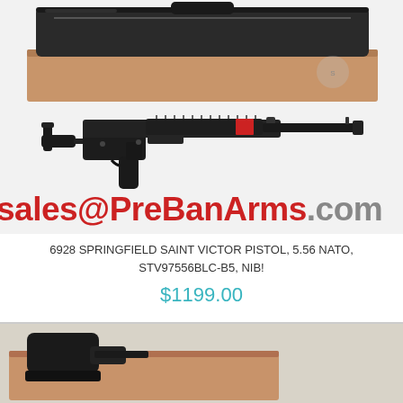[Figure (photo): Photo of Springfield Saint Victor pistol with carrying bag/case on top, shown against white background. Red PreBanArms.com watermark overlay on image.]
sales@PreBanArms.com
6928 SPRINGFIELD SAINT VICTOR PISTOL, 5.56 NATO, STV97556BLC-B5, NIB!
$1199.00
[Figure (photo): Partial photo of another firearm/pistol in cardboard box, shown at bottom of page, partially cut off.]